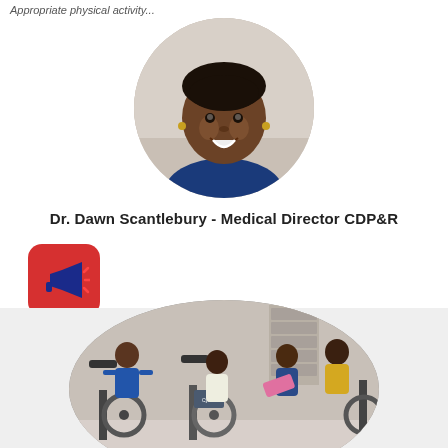Appropriate physical activity...
[Figure (photo): Circular portrait photo of Dr. Dawn Scantlebury, a smiling woman with short natural hair wearing a dark blue top]
Dr. Dawn Scantlebury - Medical Director CDP&R
[Figure (illustration): Red rounded square icon with a white megaphone/loudspeaker with motion lines indicating sound]
[Figure (photo): Circular photo of people in a gym/rehabilitation setting with exercise bikes; two women in athletic wear speaking to two clients on machines]